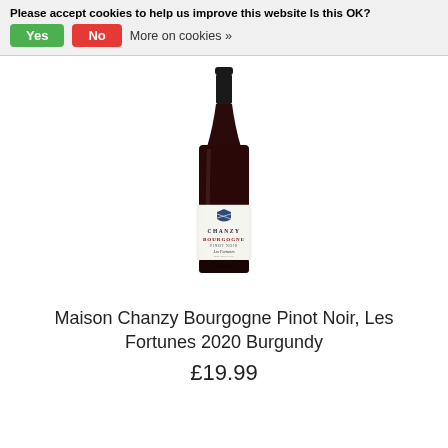Please accept cookies to help us improve this website Is this OK? Yes No More on cookies »
[Figure (photo): Wine bottle: Maison Chanzy Bourgogne Pinot Noir Les Fortunes, dark red wine bottle with white label and crest]
Maison Chanzy Bourgogne Pinot Noir, Les Fortunes 2020 Burgundy
£19.99